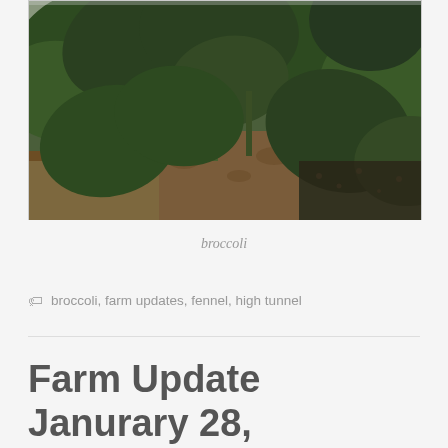[Figure (photo): Close-up photo of broccoli plants growing in a garden bed with dark soil visible between the large green leaves]
broccoli
🏷 broccoli, farm updates, fennel, high tunnel
Farm Update Janurary 28, 2017